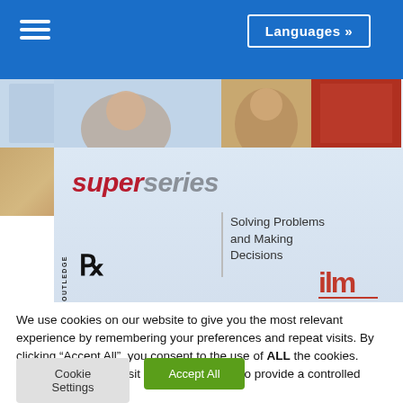Languages »
[Figure (illustration): Book cover for 'Super Series: Solving Problems and Making Decisions' published by Routledge and ILM. Features the text 'superseries' with 'super' in red italic and 'series' in gray italic, subtitle 'Solving Problems and Making Decisions', Routledge logo on the left, ILM logo on the right, and photographs at the top.]
We use cookies on our website to give you the most relevant experience by remembering your preferences and repeat visits. By clicking “Accept All”, you consent to the use of ALL the cookies. However, you may visit "Cookie Settings" to provide a controlled consent.
Cookie Settings
Accept All